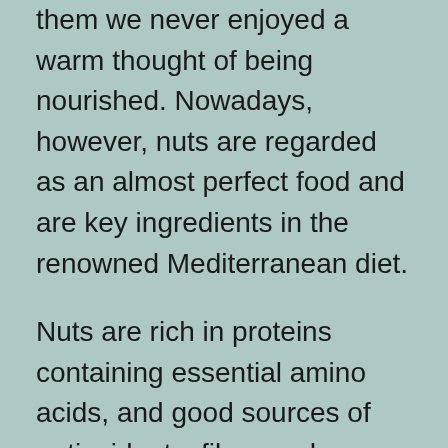them we never enjoyed a warm thought of being nourished. Nowadays, however, nuts are regarded as an almost perfect food and are key ingredients in the renowned Mediterranean diet.
Nuts are rich in proteins containing essential amino acids, and good sources of antioxidants, fiber, and micronutrients. They contain beneficial minerals (iron, magnesium, zinc, etc.) and vitamins: vitamin A (butternuts, chestnuts, pistachios, hickory nuts), vitamin C (chestnuts), vitamin E (almonds), vitamin K (cashew nuts, pine nuts) and folate (ginkgo